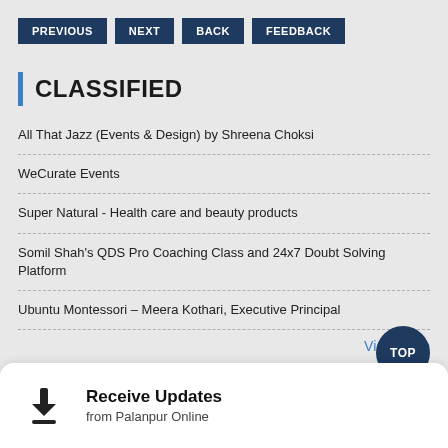PREVIOUS  NEXT  BACK  FEEDBACK
CLASSIFIED
All That Jazz (Events & Design) by Shreena Choksi
WeCurate Events
Super Natural - Health care and beauty products
Somil Shah's QDS Pro Coaching Class and 24x7 Doubt Solving Platform
Ubuntu Montessori – Meera Kothari, Executive Principal
View More
Receive Updates
from Palanpur Online